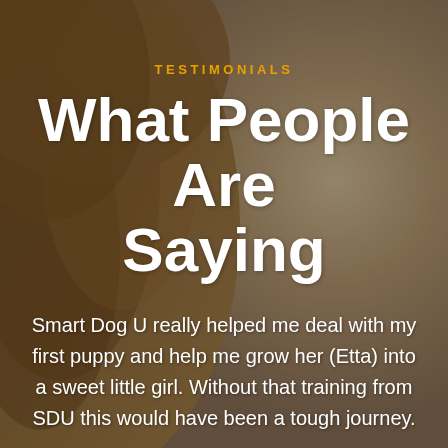[Figure (photo): Close-up blurred photo of a dog (likely a golden/brown retriever), showing the side of the dog's head and fur, with a warm brown and beige bokeh background. The image serves as a background for testimonial text.]
TESTIMONIALS
What People Are Saying
Smart Dog U really helped me deal with my first puppy and help me grow her (Etta) into a sweet little girl. Without that training from SDU this would have been a tough journey.